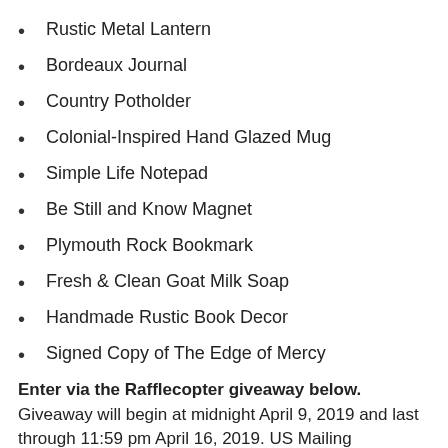Rustic Metal Lantern
Bordeaux Journal
Country Potholder
Colonial-Inspired Hand Glazed Mug
Simple Life Notepad
Be Still and Know Magnet
Plymouth Rock Bookmark
Fresh & Clean Goat Milk Soap
Handmade Rustic Book Decor
Signed Copy of The Edge of Mercy
Enter via the Rafflecopter giveaway below. Giveaway will begin at midnight April 9, 2019 and last through 11:59 pm April 16, 2019. US Mailing addresses only, due to shipping costs. Void where prohibited by law. Winners will be notified within 2 weeks of close of the giveaway and given 48 hours